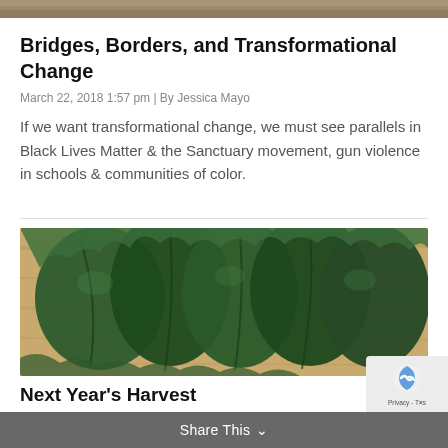[Figure (photo): Partial view of a top image, brownish/earthy tones, cropped at top of page]
Bridges, Borders, and Transformational Change
March 22, 2018 1:57 pm | By Jessica Mayo
If we want transformational change, we must see parallels in Black Lives Matter & the Sanctuary movement, gun violence in schools & communities of color.
[Figure (photo): Photograph of dark green kale leaves laid flat on a wooden cutting board]
Next Year's Harvest
Share This ∨